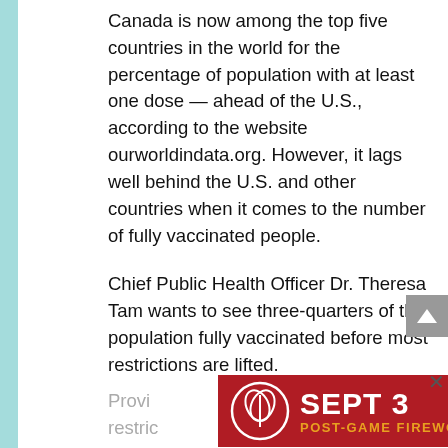Canada is now among the top five countries in the world for the percentage of population with at least one dose — ahead of the U.S., according to the website ourworldindata.org. However, it lags well behind the U.S. and other countries when it comes to the number of fully vaccinated people.
Chief Public Health Officer Dr. Theresa Tam wants to see three-quarters of the population fully vaccinated before most restrictions are lifted.
Provi... restric...
[Figure (other): Advertisement banner: red background with logo, 'SEPT 3' in large white bold text, 'POST-GAME FIREWORKS' in orange text, and a dark 'BUY TICKETS' button. A close (×) button appears to the right.]